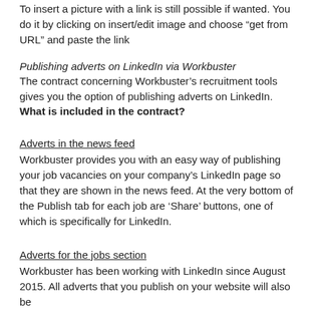To insert a picture with a link is still possible if wanted. You do it by clicking on insert/edit image and choose “get from URL” and paste the link
Publishing adverts on LinkedIn via Workbuster
The contract concerning Workbuster’s recruitment tools gives you the option of publishing adverts on LinkedIn.
What is included in the contract?
Adverts in the news feed
Workbuster provides you with an easy way of publishing your job vacancies on your company’s LinkedIn page so that they are shown in the news feed. At the very bottom of the Publish tab for each job are ‘Share’ buttons, one of which is specifically for LinkedIn.
Adverts for the jobs section
Workbuster has been working with LinkedIn since August 2015. All adverts that you publish on your website will also be